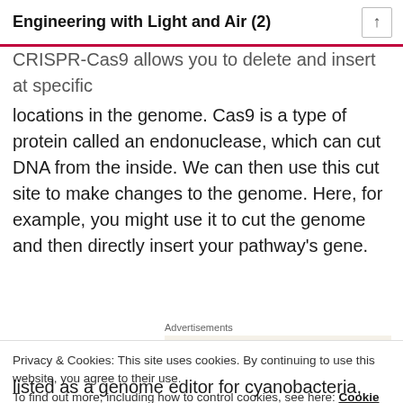Engineering with Light and Air (2)
CRISPR-Cas9 allows you to delete and insert at specific locations in the genome. Cas9 is a type of protein called an endonuclease, which can cut DNA from the inside. We can then use this cut site to make changes to the genome. Here, for example, you might use it to cut the genome and then directly insert your pathway’s gene.
Advertisements
[Figure (screenshot): WordPress advertisement: 'Professionally designed sites in less than a week' with WordPress logo]
Privacy & Cookies: This site uses cookies. By continuing to use this website, you agree to their use. To find out more, including how to control cookies, see here: Cookie Policy
listed as a genome editor for cyanobacteria, but all